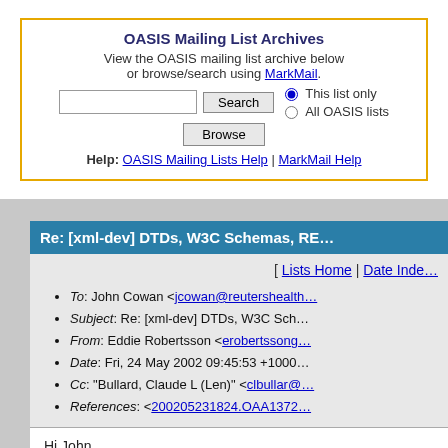OASIS Mailing List Archives
View the OASIS mailing list archive below or browse/search using MarkMail.
Re: [xml-dev] DTDs, W3C Schemas, RE...
[ Lists Home | Date Inde...
To: John Cowan <jcowan@reutershealth...>
Subject: Re: [xml-dev] DTDs, W3C Sch...
From: Eddie Robertsson <erobertssong...>
Date: Fri, 24 May 2002 09:45:53 +1000
Cc: "Bullard, Claude L (Len)" <clbullar@...>
References: <200205231824.OAA1372...>
Hi John,